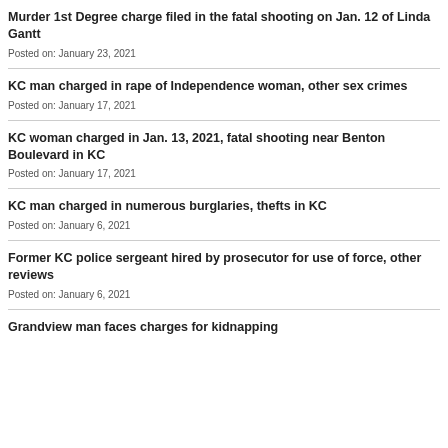Murder 1st Degree charge filed in the fatal shooting on Jan. 12 of Linda Gantt
Posted on: January 23, 2021
KC man charged in rape of Independence woman, other sex crimes
Posted on: January 17, 2021
KC woman charged in Jan. 13, 2021, fatal shooting near Benton Boulevard in KC
Posted on: January 17, 2021
KC man charged in numerous burglaries, thefts in KC
Posted on: January 6, 2021
Former KC police sergeant hired by prosecutor for use of force, other reviews
Posted on: January 6, 2021
Grandview man faces charges for kidnapping